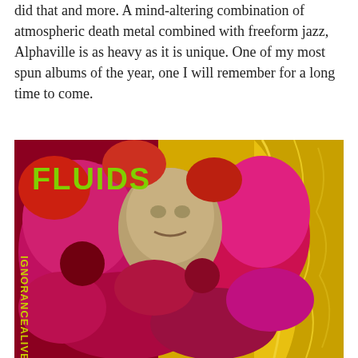did that and more. A mind-altering combination of atmospheric death metal combined with freeform jazz, Alphaville is as heavy as it is unique. One of my most spun albums of the year, one I will remember for a long time to come.
[Figure (photo): Album cover for Fluids - Ignorance Alive. Extremely graphic and colorful collage artwork featuring monstrous creatures, skulls, and gore in vivid pinks, yellows, and reds. Text 'FLUIDS' appears in green at the top left, and 'IGNORANCE ALIVE' appears vertically in yellow on the bottom left.]